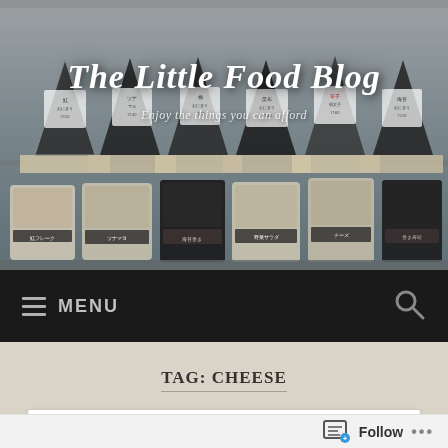[Figure (photo): Header photo of a convenience store shelf with onigiri (Japanese rice ball triangles) and packaged food items on display]
The Little Food Blog
Enjoy the things you can afford
MENU
TAG: CHEESE
Sweet Potato Crackers
Follow